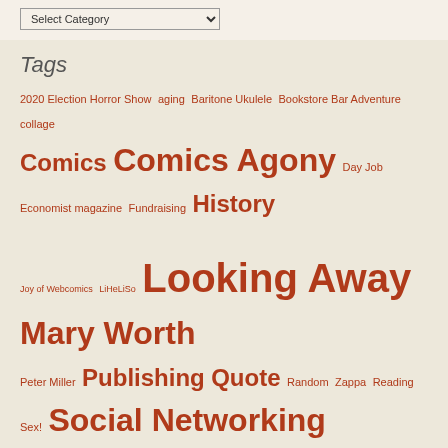Select Category
Tags
2020 Election Horror Show aging Baritone Ukulele Bookstore Bar Adventure collage Comics Comics Agony Day Job Economist magazine Fundraising History Joy of Webcomics LiHeLiSo Looking Away Mary Worth Peter Miller Publishing Quote Random Zappa Reading Sex! Social Networking The Way We Live Now Wapshott Press Working for a living
Pages
Darkness at Sunset and Vine
Donate… pleeeeeease…
Dr. Hackenbush Gains Perspective